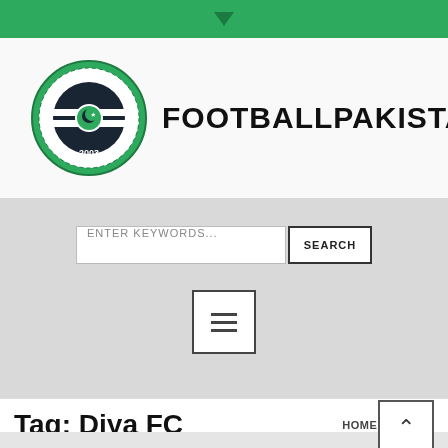[Figure (logo): FootballPakistan.com circular green and white logo badge with football imagery and year 2003, followed by text FOOTBALLPAKISTAN.COM]
ENTER KEYWORDS...
SEARCH
[Figure (other): Hamburger menu icon in a square box]
Tag: Diya FC
HOME / DIYA FC
[Figure (other): Back to top arrow button in square box]